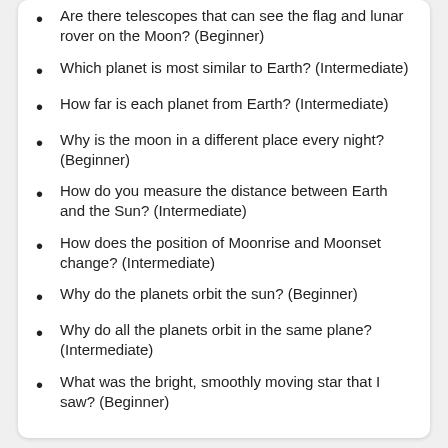Are there telescopes that can see the flag and lunar rover on the Moon? (Beginner)
Which planet is most similar to Earth? (Intermediate)
How far is each planet from Earth? (Intermediate)
Why is the moon in a different place every night? (Beginner)
How do you measure the distance between Earth and the Sun? (Intermediate)
How does the position of Moonrise and Moonset change? (Intermediate)
Why do the planets orbit the sun? (Beginner)
Why do all the planets orbit in the same plane? (Intermediate)
What was the bright, smoothly moving star that I saw? (Beginner)